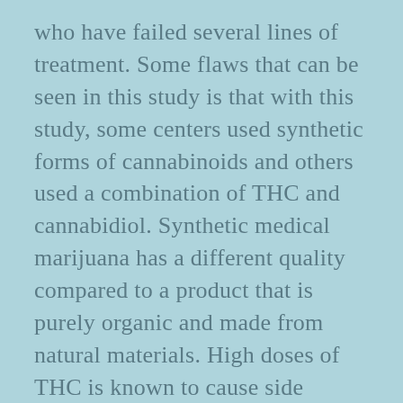who have failed several lines of treatment. Some flaws that can be seen in this study is that with this study, some centers used synthetic forms of cannabinoids and others used a combination of THC and cannabidiol. Synthetic medical marijuana has a different quality compared to a product that is purely organic and made from natural materials. High doses of THC is known to cause side effects while with lower doses of THC pain relief may be obtained with fewer side effects. It is not clear how pure the products are which were being administered.